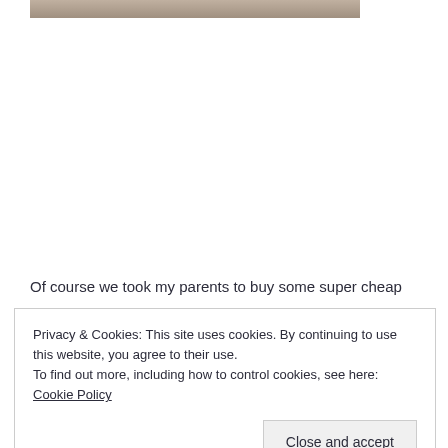[Figure (photo): Partial photo visible at top of page (cropped)]
Of course we took my parents to buy some super cheap
Privacy & Cookies: This site uses cookies. By continuing to use this website, you agree to their use.
To find out more, including how to control cookies, see here: Cookie Policy
Close and accept
[Figure (photo): Partial photo visible at bottom of page (cropped)]